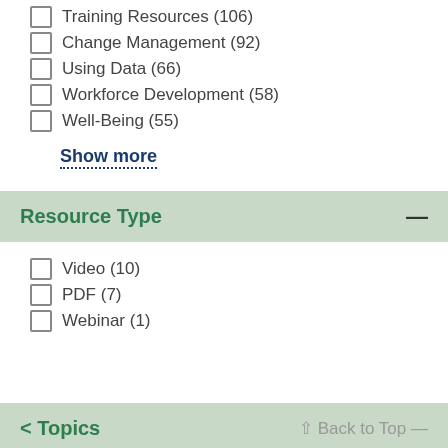Training Resources (106)
Change Management (92)
Using Data (66)
Workforce Development (58)
Well-Being (55)
Show more
Resource Type
Video (10)
PDF (7)
Webinar (1)
< Topics    ↑ Back to Top